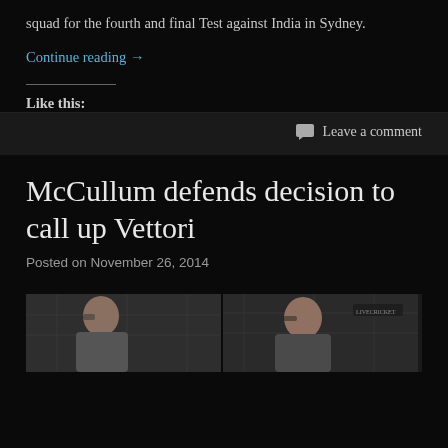squad for the fourth and final Test against India in Sydney.
Continue reading →
Like this:
Leave a comment
McCullum defends decision to call up Vettori
Posted on November 26, 2014
[Figure (photo): Two-panel photo strip showing two people side by side in what appears to be an indoor setting]